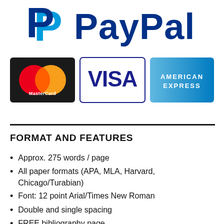[Figure (logo): PayPal logo — blue double-P icon with PayPal wordmark in dark navy blue]
[Figure (logo): Three payment method logos side by side: MasterCard (red/yellow overlapping circles on dark background), Visa (blue text on white with blue border), American Express (blue gradient background with white text)]
FORMAT AND FEATURES
Approx. 275 words / page
All paper formats (APA, MLA, Harvard, Chicago/Turabian)
Font: 12 point Arial/Times New Roman
Double and single spacing
FREE bibliography page
FREE title page